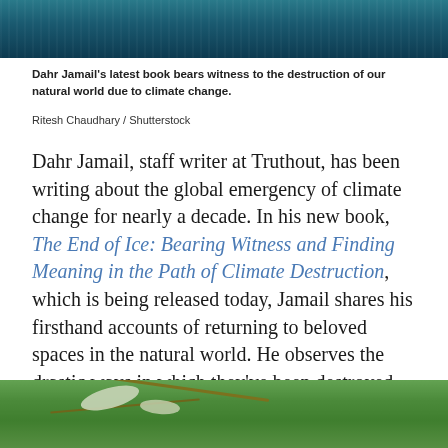[Figure (photo): Top portion of ocean water photo with dark teal/blue tones]
Dahr Jamail's latest book bears witness to the destruction of our natural world due to climate change.
Ritesh Chaudhary / Shutterstock
Dahr Jamail, staff writer at Truthout, has been writing about the global emergency of climate change for nearly a decade. In his new book, The End of Ice: Bearing Witness and Finding Meaning in the Path of Climate Destruction, which is being released today, Jamail shares his firsthand accounts of returning to beloved spaces in the natural world. He observes the drastic ways in which they've been destroyed due to humanity's relentless burning of fossil fuels, and mourns over how many of them are unlikely to recover over the duration of human existence.
[Figure (photo): Bottom portion showing dead fish and debris floating in green algae-covered water]